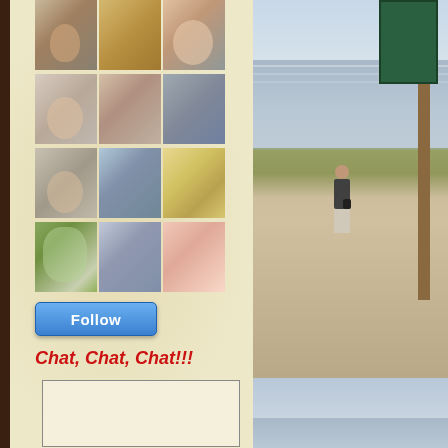[Figure (photo): Grid of 12 avatar/profile photos in 4 rows of 3]
[Figure (other): Follow button - blue rounded rectangle with white text 'Follow']
Chat, Chat, Chat!!!
[Figure (other): Empty chat/comment text box with border]
[Figure (photo): Beach scene photo: woman standing on sandy beach near water, green sign post on right, overcast sky]
[Figure (photo): Second partial beach/water photo at bottom right]